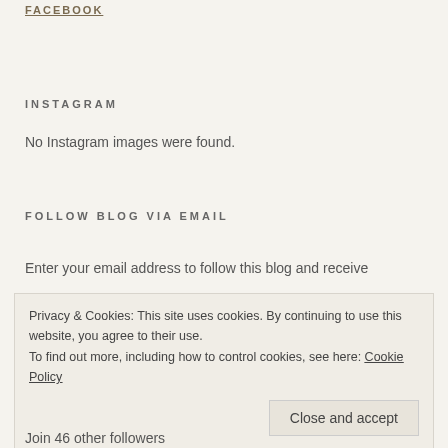FACEBOOK
INSTAGRAM
No Instagram images were found.
FOLLOW BLOG VIA EMAIL
Enter your email address to follow this blog and receive notifications of new posts by email.
Privacy & Cookies: This site uses cookies. By continuing to use this website, you agree to their use.
To find out more, including how to control cookies, see here: Cookie Policy
Join 46 other followers